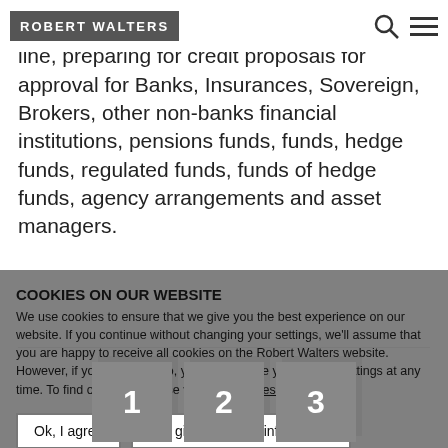ROBERT WALTERS
ng in a dynamic regional team is the 1st line, preparing for credit proposals for approval for Banks, Insurances, Sovereign, Brokers, other non-banks financial institutions, pensions funds, funds, hedge funds, regulated funds, funds of hedge funds, agency arrangements and asset managers.
[Figure (other): Pagination buttons showing pages 1, 2, 3 with stacked card visual effect]
COOKIES ON OUR WEBSITE
We use cookies to ensure that we give you the best experience on our website. If you continue without changing your settings, we'll assume that you are happy to receive all cookies on the Robert Walters website. However, if you would like to, you can change your cookie settings at any time. To find out more, please view our cookies policy.